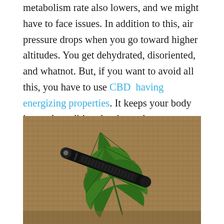metabolism rate also lowers, and we might have to face issues. In addition to this, air pressure drops when you go toward higher altitudes. You get dehydrated, disoriented, and whatnot. But, if you want to avoid all this, you have to use CBD having energizing properties. It keeps your body in good condition despite various difficulties. Thus, it would be best to possess CBD oil kits in your travel kits to avoid these issues.
[Figure (photo): A close-up photograph of a cannabis/hemp leaf with a black vape pen or CBD oil cartridge placed on top of it, resting on a burlap/hessian fabric background.]